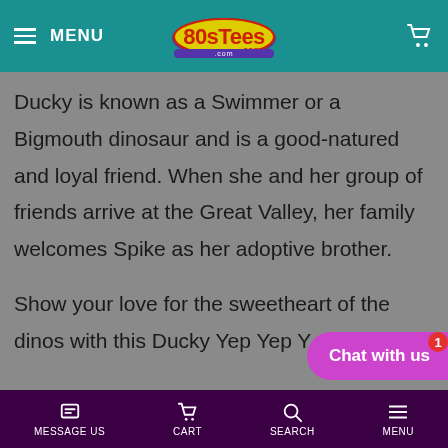MENU | 80sTees.com | Cart
Ducky is known as a Swimmer or a Bigmouth dinosaur and is a good-natured and loyal friend. When she and her group of friends arrive at the Great Valley, her family welcomes Spike as her adoptive brother.
Show your love for the sweetheart of the dinos with this Ducky Yep Yep Y...
MESSAGE US  CART  SEARCH  MENU